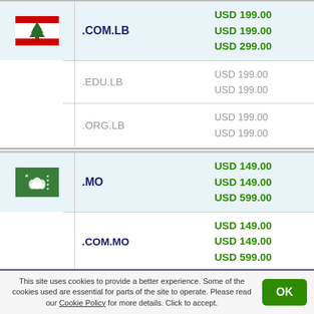[Figure (illustration): Lebanon flag — white background with red stripes top and bottom, green cedar tree in center]
.COM.LB
USD 199.00
USD 199.00
USD 299.00
.EDU.LB
USD 199.00
USD 199.00
.ORG.LB
USD 199.00
USD 199.00
[Figure (illustration): Macau flag — green background with white lotus flower and stars]
.MO
USD 149.00
USD 149.00
USD 599.00
.COM.MO
USD 149.00
USD 149.00
USD 599.00
This site uses cookies to provide a better experience. Some of the cookies used are essential for parts of the site to operate. Please read our Cookie Policy for more details. Click to accept.